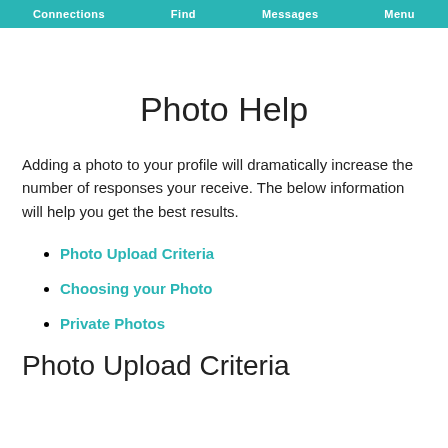Connections   Find   Messages   Menu
Photo Help
Adding a photo to your profile will dramatically increase the number of responses your receive. The below information will help you get the best results.
Photo Upload Criteria
Choosing your Photo
Private Photos
Photo Upload Criteria